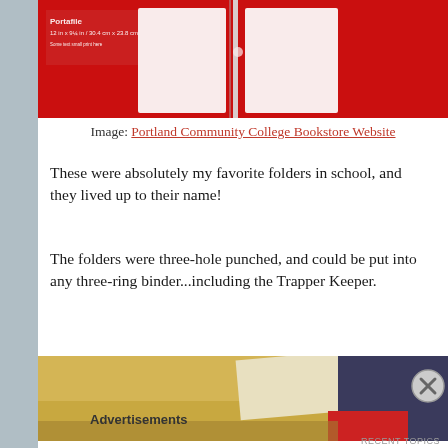[Figure (photo): Red Portafile folder packaging with white pockets visible, product label on upper left corner]
Image: Portland Community College Bookstore Website
These were absolutely my favorite folders in school, and they lived up to their name!
The folders were three-hole punched, and could be put into any three-ring binder...including the Trapper Keeper.
[Figure (photo): Photo of a red folder or binder being opened on a golden/tan surface, with a hand visible]
Advertisements
RECENT TOPICS